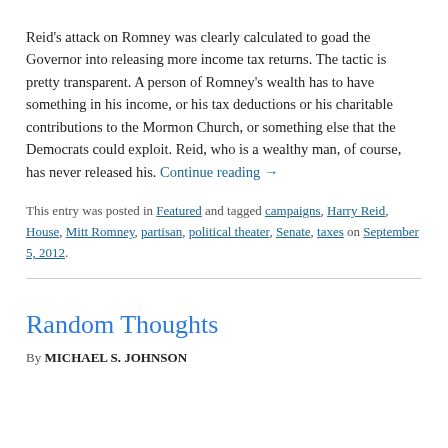Reid's attack on Romney was clearly calculated to goad the Governor into releasing more income tax returns. The tactic is pretty transparent. A person of Romney's wealth has to have something in his income, or his tax deductions or his charitable contributions to the Mormon Church, or something else that the Democrats could exploit. Reid, who is a wealthy man, of course, has never released his. Continue reading →
This entry was posted in Featured and tagged campaigns, Harry Reid, House, Mitt Romney, partisan, political theater, Senate, taxes on September 5, 2012.
Random Thoughts
By MICHAEL S. JOHNSON